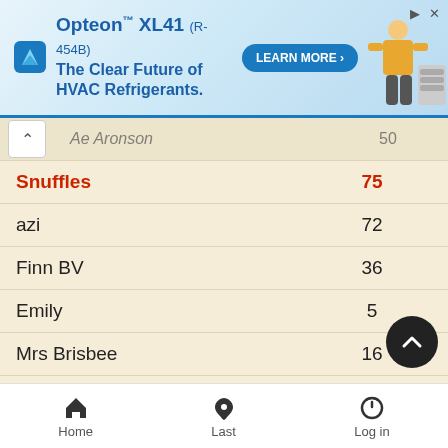[Figure (screenshot): Advertisement banner for Opteon XL41 (R-454B) HVAC refrigerant with blue gradient background, logo, Learn More button, and illustration of HVAC technician.]
| (Ae Aronson) | 50 |
| Snuffles | 75 |
| azi | 72 |
| Finn BV | 36 |
| Emily | 5 |
| Mrs Brisbee | 16 |
| Tazzygirl | 16 |
| Phelim Mcintyre | 15 |
| Little Ginny | 3 |
Home  Last  Log in